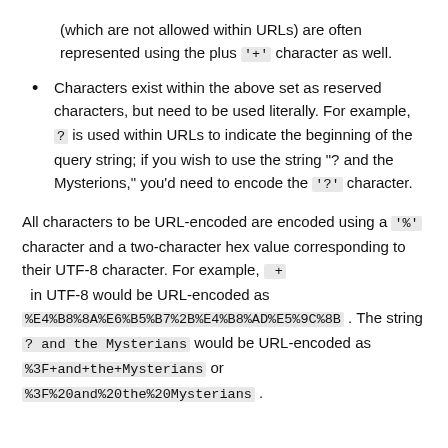(which are not allowed within URLs) are often represented using the plus '+' character as well.
Characters exist within the above set as reserved characters, but need to be used literally. For example, ? is used within URLs to indicate the beginning of the query string; if you wish to use the string "? and the Mysterions," you'd need to encode the '?' character.
All characters to be URL-encoded are encoded using a '%' character and a two-character hex value corresponding to their UTF-8 character. For example, + in UTF-8 would be URL-encoded as %E4%B8%8A%E6%B5%B7%2B%E4%B8%AD%E5%9C%8B . The string ? and the Mysterians would be URL-encoded as %3F+and+the+Mysterians or %3F%20and%20the%20Mysterians .